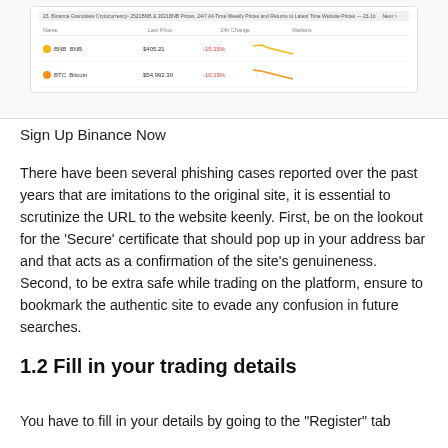[Figure (screenshot): Screenshot of Binance cryptocurrency exchange interface showing BNB and BTC coin listings with last price, 24h change, and sparkline charts. BNB price $405.21, change -15.15%; BTC price $54,992.30, change -10.15%.]
Sign Up Binance Now
There have been several phishing cases reported over the past years that are imitations to the original site, it is essential to scrutinize the URL to the website keenly. First, be on the lookout for the ‘Secure’ certificate that should pop up in your address bar and that acts as a confirmation of the site’s genuineness. Second, to be extra safe while trading on the platform, ensure to bookmark the authentic site to evade any confusion in future searches.
1.2 Fill in your trading details
You have to fill in your details by going to the “Register” tab